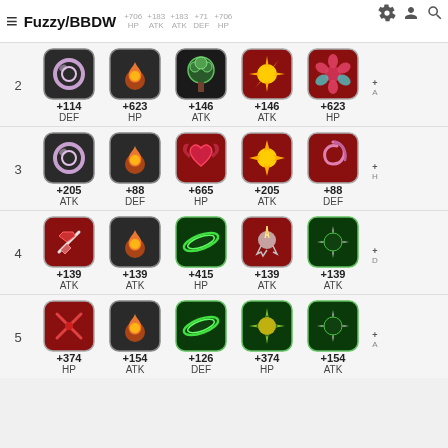Fuzzy/BBDW | +706 HP | +183 ATK | +183 ATK | +71 DEF | +706 HP
| Row | Slot1 Val | Slot1 Stat | Slot2 Val | Slot2 Stat | Slot3 Val | Slot3 Stat | Slot4 Val | Slot4 Stat | Slot5 Val | Slot5 Stat |
| --- | --- | --- | --- | --- | --- | --- | --- | --- | --- | --- |
| 2 | +114 | DEF | +623 | HP | +146 | ATK | +146 | ATK | +623 | HP |
| 3 | +205 | ATK | +88 | DEF | +665 | HP | +205 | ATK | +88 | DEF |
| 4 | +139 | ATK | +139 | ATK | +415 | HP | +139 | ATK | +139 | ATK |
| 5 | +374 | HP | +154 | ATK | +126 | DEF | +374 | HP | +154 | ATK |